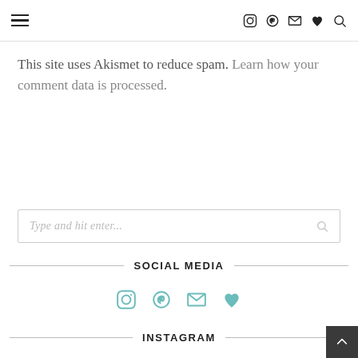Navigation header with hamburger menu and social icons (Instagram, Pinterest, Email, Heart, Search)
This site uses Akismet to reduce spam. Learn how your comment data is processed.
[Figure (other): Search input box with placeholder text 'Type and hit enter...' and a search icon on the right]
SOCIAL MEDIA
[Figure (other): Row of social media icons in teal: Instagram, Pinterest, Email, Heart]
INSTAGRAM